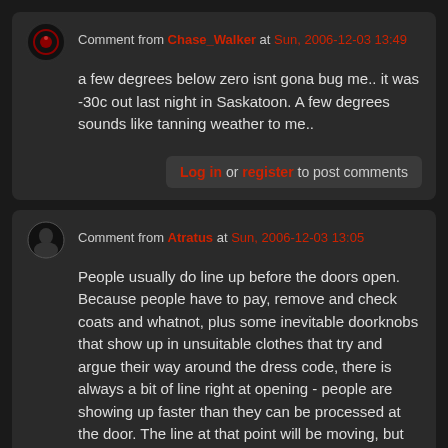Comment from Chase_Walker at Sun, 2006-12-03 13:49
a few degrees below zero isnt gona bug me.. it was -30c out last night in Saskatoon. A few degrees sounds like tanning weather to me..
Log in or register to post comments
Comment from Atratus at Sun, 2006-12-03 13:05
People usually do line up before the doors open. Because people have to pay, remove and check coats and whatnot, plus some inevitable doorknobs that show up in unsuitable clothes that try and argue their way around the dress code, there is always a bit of line right at opening - people are showing up faster than they can be processed at the door. The line at that point will be moving, but do take into account that it is December, temperatures at that time of the night are only a degree or three above freezing, and you're likely to be outside for at least a few minutes no matter what